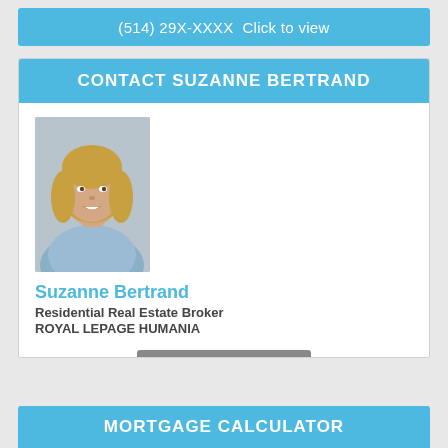(514) 29X-XXXX  Click to view
CONTACT SUZANNE BERTRAND
[Figure (photo): Headshot photo of Suzanne Bertrand, a woman with blonde hair, smiling, wearing a light blue patterned top]
Suzanne Bertrand
Residential Real Estate Broker
ROYAL LEPAGE HUMANIA
EMAIL THE SELLER
VIEW MY OTHER LISTINGS
(450) 56X-XXXX  Click to view
MORTGAGE CALCULATOR